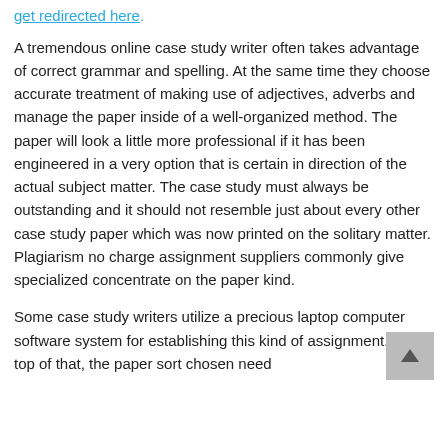get redirected here.
A tremendous online case study writer often takes advantage of correct grammar and spelling. At the same time they choose accurate treatment of making use of adjectives, adverbs and manage the paper inside of a well-organized method. The paper will look a little more professional if it has been engineered in a very option that is certain in direction of the actual subject matter. The case study must always be outstanding and it should not resemble just about every other case study paper which was now printed on the solitary matter. Plagiarism no charge assignment suppliers commonly give specialized concentrate on the paper kind.
Some case study writers utilize a precious laptop computer software system for establishing this kind of assignment. On top of that, the paper sort chosen need